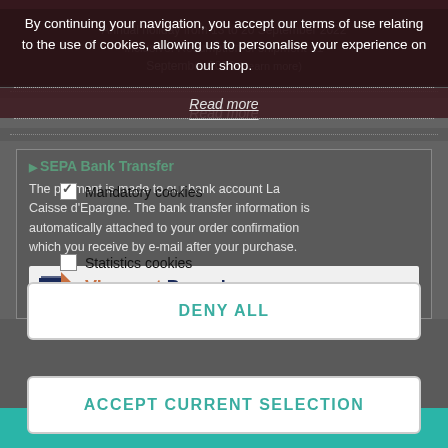Annual holiday from 13 to 20 September 2022 inclusive. Resumption of shipment 21 September 2022 (Learn more)
By continuing your navigation, you accept our terms of use relating to the use of cookies, allowing us to personalise your experience on our shop.
Read more
SEPA Bank Transfer
The payment is made to our bank account La Caisse d'Epargne. The bank transfer information is automatically attached to your order confirmation which you receive by e-mail after your purchase.
☑ Mandatory cookies
☐ Statistics cookies
☐ Marketing and Social network cookies
[Figure (logo): Virement Bancaire logo with orange arrow icon and dark blue text]
DENY ALL
ACCEPT CURRENT SELECTION